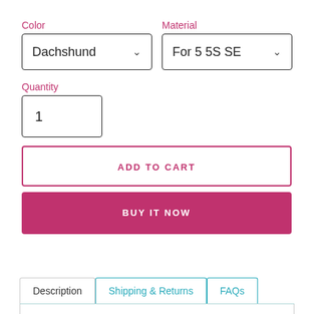Color
Material
Dachshund
For 5 5S SE
Quantity
1
ADD TO CART
BUY IT NOW
Description
Shipping & Returns
FAQs